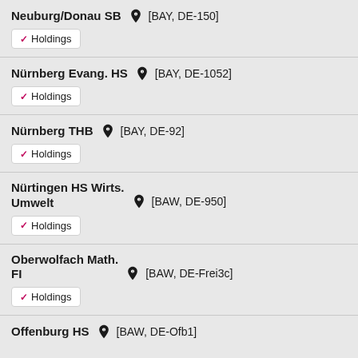Neuburg/Donau SB [BAY, DE-150] Holdings
Nürnberg Evang. HS [BAY, DE-1052] Holdings
Nürnberg THB [BAY, DE-92] Holdings
Nürtingen HS Wirts. Umwelt [BAW, DE-950] Holdings
Oberwolfach Math. FI [BAW, DE-Frei3c] Holdings
Offenburg HS [BAW, DE-Ofb1]